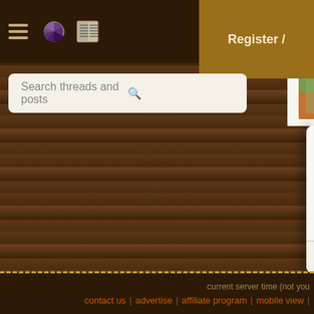Navigation bar with hamburger menu, icons, and Register button
Search threads and posts
Bush... | 4 replies
5 Hectare Example Far... | 20 replies
Non-Hierarchical Perm... | 50 replies | [→□ 1, 2]
What to take in a shipp... business? | 1 reply
current server time (not you | contact us | advertise | affiliate program | mobile view |